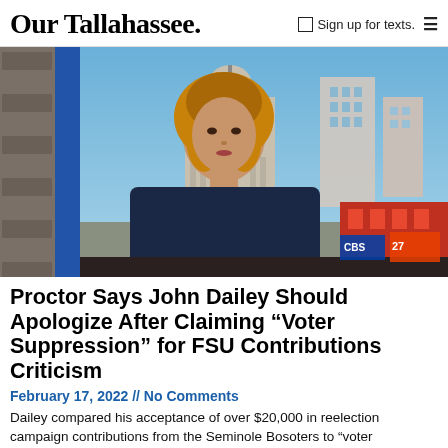Our Tallahassee. Sign up for texts. ≡
[Figure (photo): A woman with curly hair wearing a dark navy sleeveless top, seated at a news desk in front of a city skyline backdrop showing a capitol building and urban skyline, appears to be a TV news broadcast setting.]
Proctor Says John Dailey Should Apologize After Claiming “Voter Suppression” for FSU Contributions Criticism
February 17, 2022 // No Comments
Dailey compared his acceptance of over $20,000 in reelection campaign contributions from the Seminole Bosoters to “voter suppression.” Now Proctor is asking him to apologize for his comments.